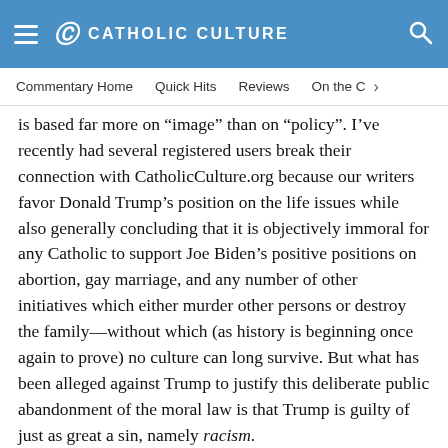CATHOLIC CULTURE
Commentary Home   Quick Hits   Reviews   On the C
is based far more on “image” than on “policy”. I’ve recently had several registered users break their connection with CatholicCulture.org because our writers favor Donald Trump’s position on the life issues while also generally concluding that it is objectively immoral for any Catholic to support Joe Biden’s positive positions on abortion, gay marriage, and any number of other initiatives which either murder other persons or destroy the family—without which (as history is beginning once again to prove) no culture can long survive. But what has been alleged against Trump to justify this deliberate public abandonment of the moral law is that Trump is guilty of just as great a sin, namely racism.
Now it is true that a great many deeply committed